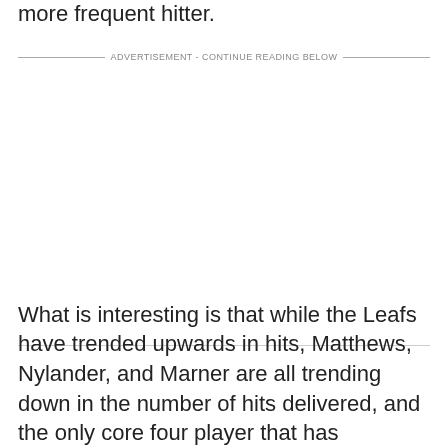more frequent hitter.
ADVERTISEMENT - CONTINUE READING BELOW
What is interesting is that while the Leafs have trended upwards in hits, Matthews, Nylander, and Marner are all trending down in the number of hits delivered, and the only core four player that has